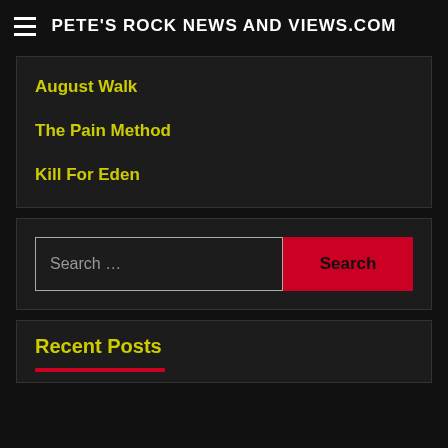PETE'S ROCK NEWS AND VIEWS.COM
August Walk
The Pain Method
Kill For Eden
Search …
Recent Posts